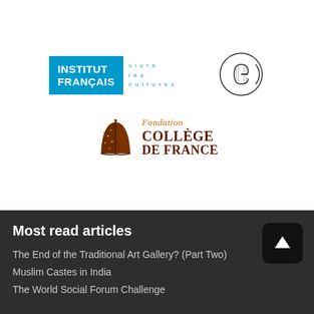[Figure (logo): Institut Français logo — blue box with white text 'INSTITUT FRANÇAIS' and cyan tagline 'vivre les cultures']
[Figure (logo): Circular monogram logo with interlocking letters, black outline on white]
[Figure (logo): Fondation Collège de France logo — open book icon in dark brown with gold dots, text 'FONDATION COLLÈGE DE FRANCE']
Most read articles
The End of the Traditional Art Gallery? (Part Two)
Muslim Castes in India
The World Social Forum Challenge